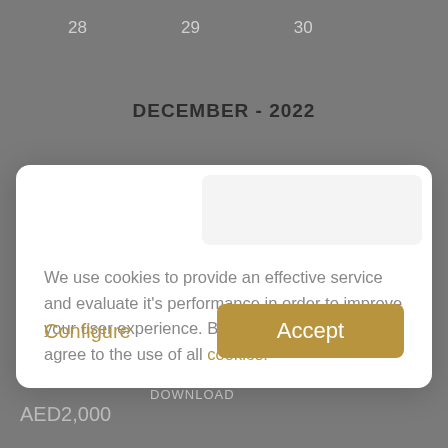28   29   30
DECEMBER - 2022
We use cookies to provide an effective service and evaluate it's performance in order to improve your user experience. By clicking "Accept", you agree to the use of all cookies.
Configure
Accept
AED2,000